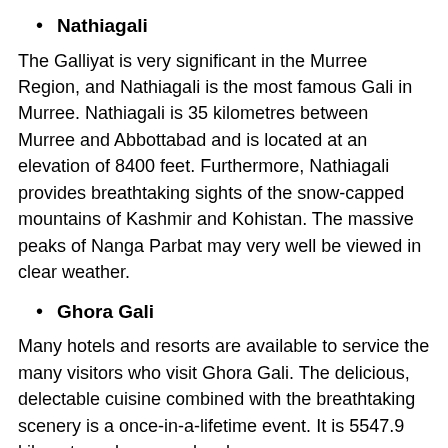Nathiagali
The Galliyat is very significant in the Murree Region, and Nathiagali is the most famous Gali in Murree. Nathiagali is 35 kilometres between Murree and Abbottabad and is located at an elevation of 8400 feet. Furthermore, Nathiagali provides breathtaking sights of the snow-capped mountains of Kashmir and Kohistan. The massive peaks of Nanga Parbat may very well be viewed in clear weather.
Ghora Gali
Many hotels and resorts are available to service the many visitors who visit Ghora Gali. The delicious, delectable cuisine combined with the breathtaking scenery is a once-in-a-lifetime event. It is 5547.9 kilometers above sea level.
Ayubia
The Ayubia is the second most frequently visited location after Nathiagali. It is the greatest picnic place in Murree since it also has the Ayubia National Park, which is 1,050 metres above sea level. It is also distributed across 3,027